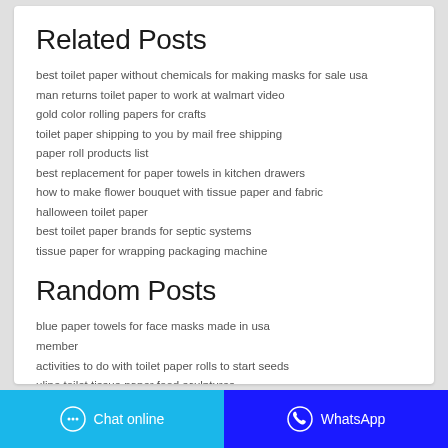Related Posts
best toilet paper without chemicals for making masks for sale usa
man returns toilet paper to work at walmart video
gold color rolling papers for crafts
toilet paper shipping to you by mail free shipping
paper roll products list
best replacement for paper towels in kitchen drawers
how to make flower bouquet with tissue paper and fabric
halloween toilet paper
best toilet paper brands for septic systems
tissue paper for wrapping packaging machine
Random Posts
blue paper towels for face masks made in usa
member
activities to do with toilet paper rolls to start seeds
uline toilet tissue paper food sculptures
gas shortage toilet paper meme 2020 funny colin kaepernick memes funny
will eating a paper towel hurt a dog
dollar general toilet paper online in stock price today nyse
best deal on paper towels near me this week today
2 ply toilet paper nsn online shopping online free
walmart scott tissue 20 pack size 1 gallon
Chat online | WhatsApp